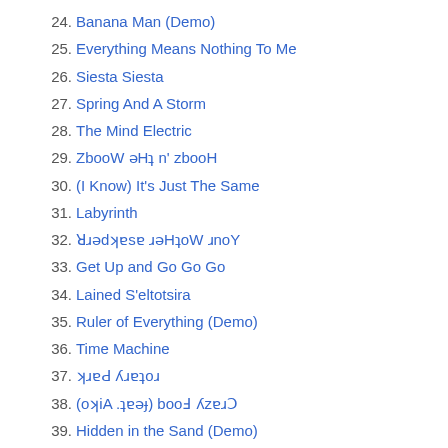24. Banana Man (Demo)
25. Everything Means Nothing To Me
26. Siesta Siesta
27. Spring And A Storm
28. The Mind Electric
29. ZbooW ǝHʇ n' zbooH
30. (I Know) It's Just The Same
31. Labyrinth
32. ꓤɹǝdʞɐsɐ ɹǝHʇoW ɹnoY
33. Get Up and Go Go Go
34. Lained S'eltotsira
35. Ruler of Everything (Demo)
36. Time Machine
37. ʞɹɐԀ ʎɹɐʇoɹ
38. (oʞiA .ʇɐǝɟ) booℲ ʎzɐɹƆ
39. Hidden in the Sand (Demo)
40. London Town